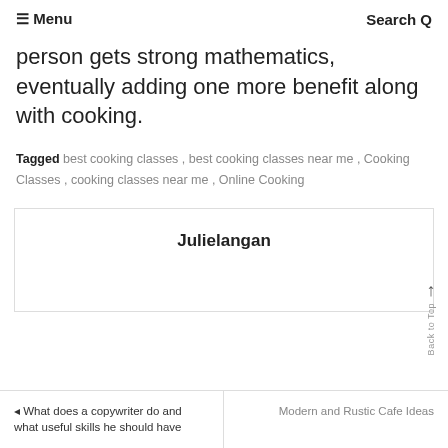≡ Menu   Search Q
person gets strong mathematics, eventually adding one more benefit along with cooking.
Tagged best cooking classes , best cooking classes near me , Cooking Classes , cooking classes near me , Online Cooking
Julielangan
↑ Back to Top
◄ What does a copywriter do and what useful skills he should have
Modern and Rustic Cafe Ideas